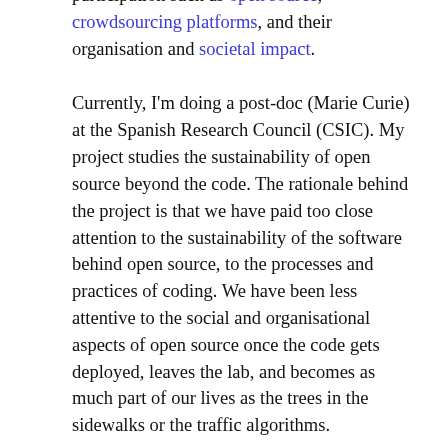participation such as open source, crowdsourcing platforms, and their organisation and societal impact.
Currently, I'm doing a post-doc (Marie Curie) at the Spanish Research Council (CSIC). My project studies the sustainability of open source beyond the code. The rationale behind the project is that we have paid too close attention to the sustainability of the software behind open source, to the processes and practices of coding. We have been less attentive to the social and organisational aspects of open source once the code gets deployed, leaves the lab, and becomes as much part of our lives as the trees in the sidewalks or the traffic algorithms.
Now that open source is increasingly visible, that it is a forceful political actor in the way our lives and our societies are shaped, we should pay attention